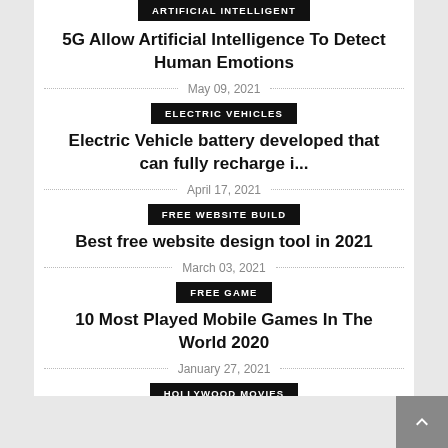ARTIFICIAL INTELLIGENT
5G Allow Artificial Intelligence To Detect Human Emotions
May 09, 2021
ELECTRIC VEHICLES
Electric Vehicle battery developed that can fully recharge i...
April 17, 2021
FREE WEBSITE BUILD
Best free website design tool in 2021
March 03, 2021
FREE GAME
10 Most Played Mobile Games In The World 2020
January 27, 2021
HOLLYWOOD MOVIES